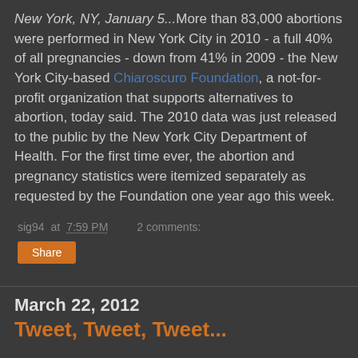New York, NY, January 5...More than 83,000 abortions were performed in New York City in 2010 - a full 40% of all pregnancies - down from 41% in 2009 - the New York City-based Chiaroscuro Foundation, a not-for-profit organization that supports alternatives to abortion, today said. The 2010 data was just released to the public by the New York City Department of Health. For the first time ever, the abortion and pregnancy statistics were itemized separately as requested by the Foundation one year ago this week.
sig94 at 7:59 PM  2 comments:
Share
March 22, 2012
Tweet, Tweet, Tweet...